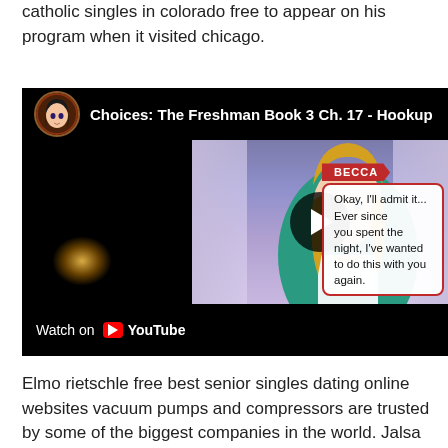catholic singles in colorado free to appear on his program when it visited chicago.
[Figure (screenshot): YouTube video embed showing 'Choices: The Freshman Book 3 Ch. 17 - Hookup' with a game scene featuring a blonde character named Becca with a speech bubble reading 'Okay, I'll admit it... Ever since you spent the night, I've wanted to do this with you again.' Play button overlay and YouTube watch bar at bottom.]
Elmo rietschle free best senior singles dating online websites vacuum pumps and compressors are trusted by some of the biggest companies in the world. Jalsa was